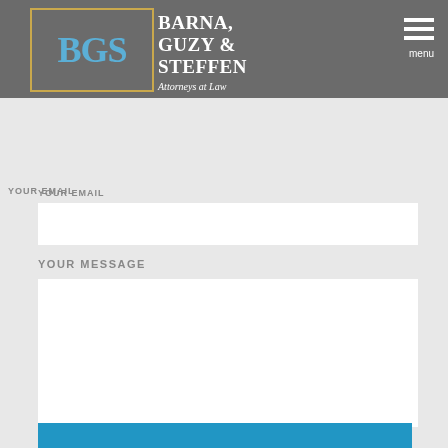BGS - Barna, Guzy & Steffen, Attorneys at Law
PHONE NUMBER
[Figure (screenshot): Empty phone number input field]
YOUR EMAIL
[Figure (screenshot): Empty email input field]
YOUR MESSAGE
[Figure (screenshot): Empty message textarea with resize handle]
[Figure (screenshot): Blue submit button at bottom]